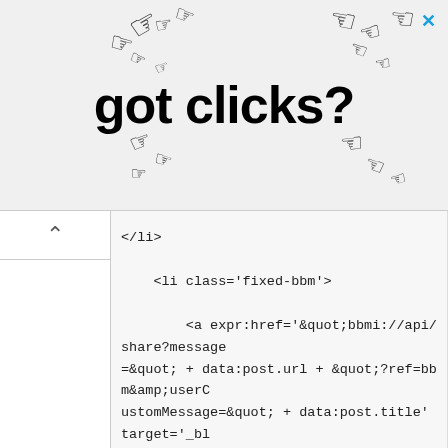[Figure (illustration): Advertisement banner with 'got clicks?' text and many hand cursor icons scattered around, with a blue X close button in top right]
</li>

    <li class='fixed-bbm'>

        <a expr:href='&quot;bbmi://api/share?message=&quot; + data:post.url + &quot;?ref=bbm&amp;userCustomMessage=&quot; + data:post.title' target='_blank' title='Share on Blackberry'>

            <span class='fixed-icon'>

                <svg class='icon BlackBerry-Icon' viewBox='0 0 5067 5067'>

    <rect height='5067' rx='489' ry='489' style='fill: black;' width='5067'/>

    <g>